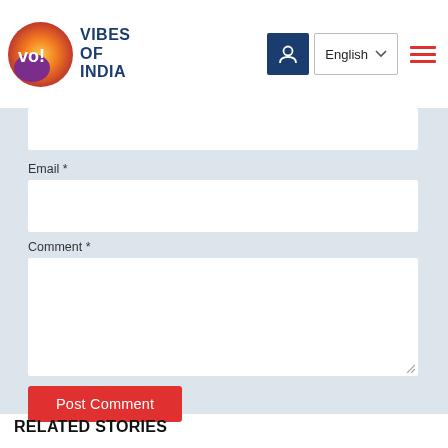[Figure (logo): Vibes of India logo with colorful circular icon and bold blue text reading VIBES OF INDIA]
Email *
Comment *
Post Comment
RELATED STORIES